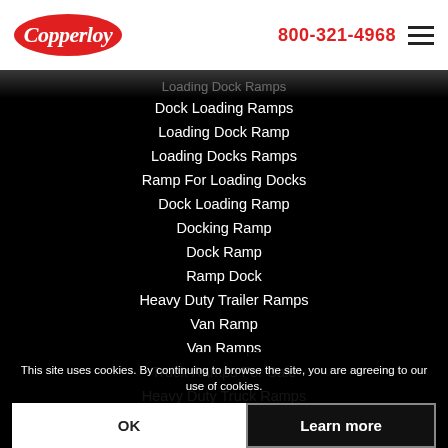Copperloy | 800-321-4968
Dock Loading Ramps
Loading Dock Ramp
Loading Docks Ramps
Ramp For Loading Docks
Dock Loading Ramp
Docking Ramp
Dock Ramp
Ramp Dock
Heavy Duty Trailer Ramps
Van Ramp
Van Ramps
Truck Ramps For Sale
Heavy Duty Truck Ramps
Steel Ramps
Truck Ramp Rental
Dock Load Leveler
Warehouse Dock
Loading Ramps For Trailers
This site uses cookies. By continuing to browse the site, you are agreeing to our use of cookies.